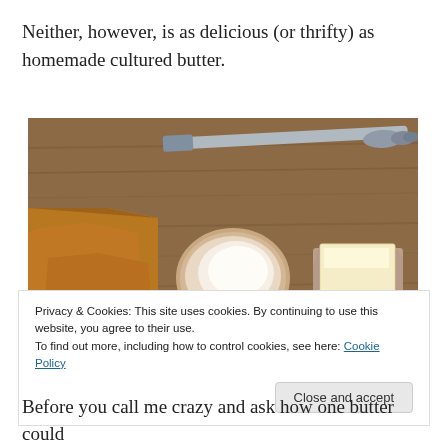Neither, however, is as delicious (or thrifty) as homemade cultured butter.
[Figure (photo): Photo of toast pieces and a pat of cultured butter on a wooden cutting board, with a decorative butter knife in the background.]
Privacy & Cookies: This site uses cookies. By continuing to use this website, you agree to their use.
To find out more, including how to control cookies, see here: Cookie Policy
Before you call me crazy and ask how one butter could